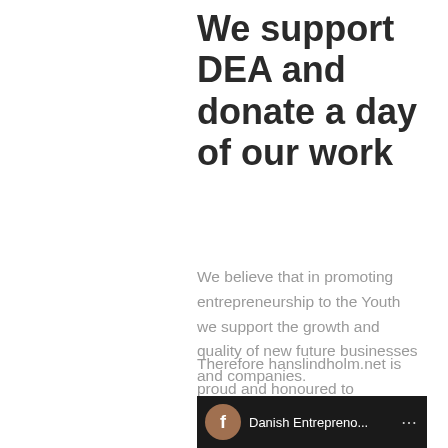We support DEA and donate a day of our work
We believe that in promoting entrepreneurship to the Youth we support the growth and quality of new future businesses and companies.
Therefore hanslindholm.net is proud and honoured to contribute to this mind-blowing event by performing referee- and mentoring tasks during the day.
[Figure (screenshot): Social media bar with Facebook icon and partial text 'Danish Entrepreno...' on dark background]